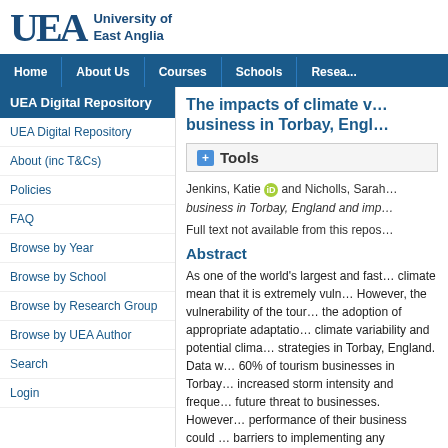University of East Anglia
Home | About Us | Courses | Schools | Research
UEA Digital Repository
UEA Digital Repository
About (inc T&Cs)
Policies
FAQ
Browse by Year
Browse by School
Browse by Research Group
Browse by UEA Author
Search
Login
The impacts of climate variability on tourism business in Torbay, England and implications...
Tools
Jenkins, Katie [ORCID] and Nicholls, Sarah... business in Torbay, England and imp...
Full text not available from this repository.
Abstract
As one of the world's largest and fastest-growing industries, the characteristics of tourism's relationship with climate mean that it is extremely vulnerable to climate variability and change. However, the vulnerability of the tourism industry can be reduced through the adoption of appropriate adaptation strategies. This paper investigates climate variability and potential climate change impacts, and adaptation strategies in Torbay, England. Data were collected through interviews with tourism businesses. 60% of tourism businesses in Torbay... increased storm intensity and frequency... future threat to businesses. However, performance of their business could... barriers to implementing any adaptive... lack of knowledge. The provision...